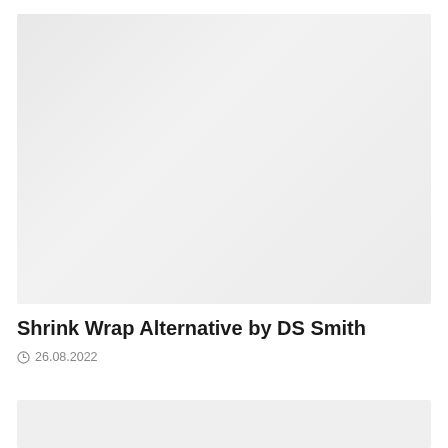[Figure (photo): Large light grey placeholder image at top of page]
Shrink Wrap Alternative by DS Smith
26.08.2022
[Figure (photo): Partial light grey placeholder image at bottom of page, cropped]